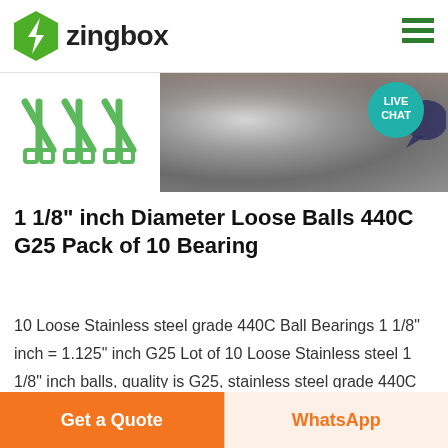zingbox
[Figure (logo): Zingbox green hexagon lightning bolt logo with text 'zingbox']
[Figure (photo): Product image area showing bearing balls on a dark gravel/steel background, with a white panel on the left showing stylized bearing icons]
1 1/8" inch Diameter Loose Balls 440C G25 Pack of 10 Bearing
10 Loose Stainless steel grade 440C Ball Bearings 1 1/8" inch = 1.125" inch G25 Lot of 10 Loose Stainless steel 1 1/8" inch balls, quality is G25, stainless steel grade 440C Ball Bearings. Item: Loose Stainless